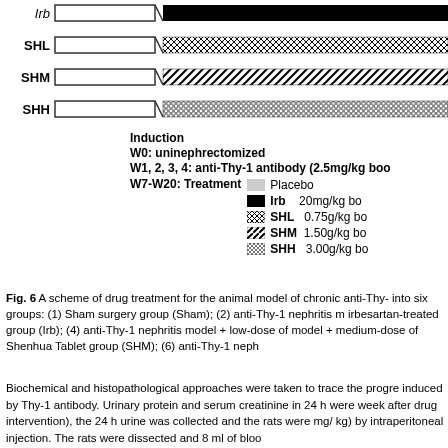[Figure (schematic): Timeline diagram showing treatment groups (Irb, SHL, SHM, SHH) with induction and treatment bars. Induction phase shown as empty rectangle on left, treatment phase shown as patterned bar on right for each group.]
Induction
W0: uninephrectomized
W1, 2, 3, 4: anti-Thy-1 antibody (2.5mg/kg boo
W7-W20: Treatment   Placebo
  Irb  20mg/kg bo
  SHL  0.75g/kg bo
  SHM  1.50g/kg bo
  SHH  3.00g/kg bo
Fig. 6 A scheme of drug treatment for the animal model of chronic anti-Thy- into six groups: (1) Sham surgery group (Sham); (2) anti-Thy-1 nephritis m irbesartan-treated group (Irb); (4) anti-Thy-1 nephritis model + low-dose of model + medium-dose of Shenhua Tablet group (SHM); (6) anti-Thy-1 neph
Biochemical and histopathological approaches were taken to trace the progre induced by Thy-1 antibody. Urinary protein and serum creatinine in 24 h were week after drug intervention), the 24 h urine was collected and the rats were mg/ kg) by intraperitoneal injection. The rats were dissected and 8 ml of bloo